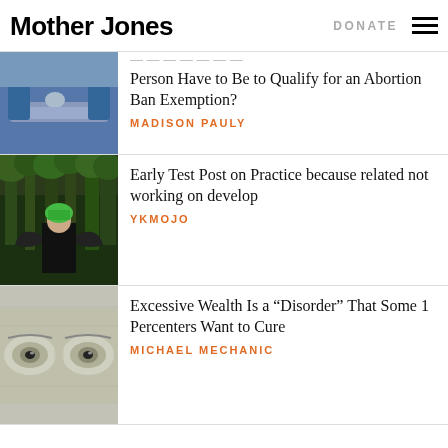Mother Jones | DONATE
How Close to Death Does a Person Have to Be to Qualify for an Abortion Ban Exemption?
MADISON PAULY
Early Test Post on Practice because related not working on develop
YKMOJO
Excessive Wealth Is a “Disorder” That Some 1 Percenters Want to Cure
MICHAEL MECHANIC